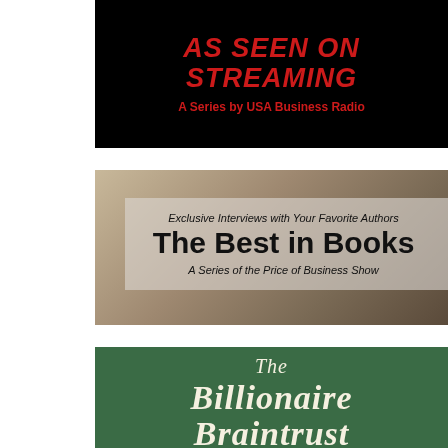[Figure (illustration): Black background banner with red bold italic text reading 'AS SEEN ON STREAMING' and subtitle 'A Series by USA Business Radio']
[Figure (illustration): Books background image with semi-transparent overlay containing text 'Exclusive Interviews with Your Favorite Authors', large bold 'The Best in Books', and 'A Series of the Price of Business Show']
[Figure (illustration): Dark green background with serif italic white text reading 'The Billionaire Braintrust' (partially visible)]